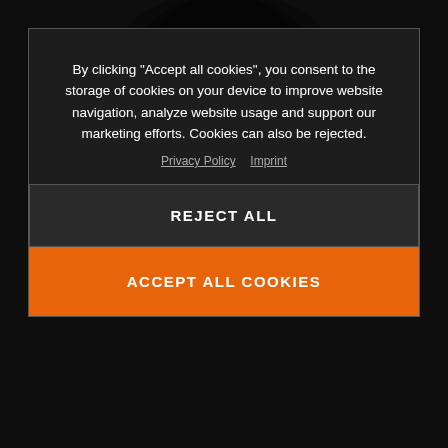[Figure (photo): Dark background showing a motorcycle or rider in low-light conditions, partially obscured by cookie consent overlay]
Reading valuable information like trip meter, fuel range, ABS settings and ride modes on the fly is made easier with the 5-inch, full-color, state-of-the-art TFT display. The rider can select which information and configuring they'd like to have it displayed on the screen. The display's
By clicking “Accept all cookies”, you consent to the storage of cookies on your device to improve website navigation, analyze website usage and support our marketing efforts. Cookies can also be rejected.
Privacy Policy  Imprint
REJECT ALL
ACCEPT ALL COOKIES